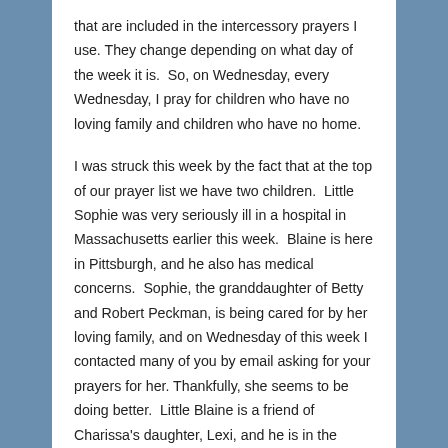that are included in the intercessory prayers I use. They change depending on what day of the week it is. So, on Wednesday, every Wednesday, I pray for children who have no loving family and children who have no home.
I was struck this week by the fact that at the top of our prayer list we have two children. Little Sophie was very seriously ill in a hospital in Massachusetts earlier this week. Blaine is here in Pittsburgh, and he also has medical concerns. Sophie, the granddaughter of Betty and Robert Peckman, is being cared for by her loving family, and on Wednesday of this week I contacted many of you by email asking for your prayers for her. Thankfully, she seems to be doing better. Little Blaine is a friend of Charissa's daughter, Lexi, and he is in the foster care system here in Pittsburgh. He has no family